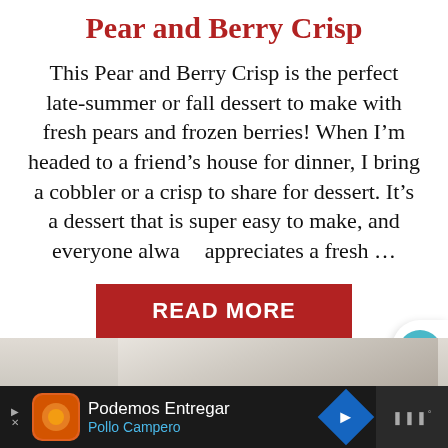Pear and Berry Crisp
This Pear and Berry Crisp is the perfect late-summer or fall dessert to make with fresh pears and frozen berries! When I’m headed to a friend’s house for dinner, I bring a cobbler or a crisp to share for dessert. It’s a dessert that is super easy to make, and everyone always appreciates a fresh …
[Figure (other): Red READ MORE button]
[Figure (photo): Partial photo of food/dessert at bottom]
[Figure (other): Advertisement bar: Podemos Entregar / Pollo Campero with logo and navigation arrow]